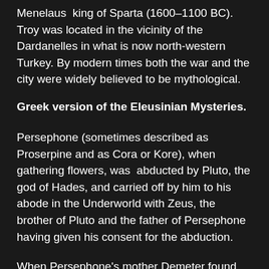Menelaus king of Sparta (1600–1100 BC). Troy was located in the vicinity of the Dardanelles in what is now north-western Turkey. By modern times both the war and the city were widely believed to be mythological.
Greek version of the Eleusinian Mysteries.
Persephone (sometimes described as Proserpine and as Cora or Kore), when gathering flowers, was abducted by Pluto, the god of Hades, and carried off by him to his abode in the Underworld with Zeus, the brother of Pluto and the father of Persephone having given his consent for the abduction.
When Persephone's mother Demeter found out she was so angry she left the heavens and